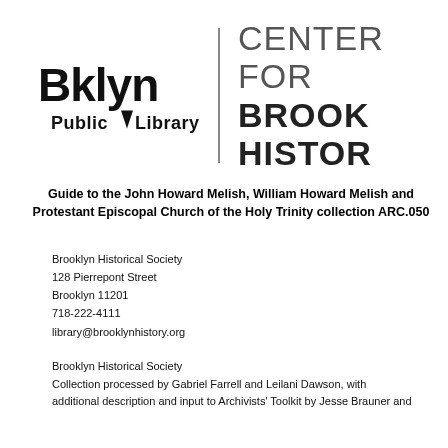[Figure (logo): Brooklyn Public Library logo on the left and 'Center for Brooklyn History' text logo on the right, separated by a vertical divider line]
Guide to the John Howard Melish, William Howard Melish and Protestant Episcopal Church of the Holy Trinity collection ARC.050
Brooklyn Historical Society
128 Pierrepont Street
Brooklyn 11201
718-222-4111
library@brooklynhistory.org
Brooklyn Historical Society
Collection processed by Gabriel Farrell and Leilani Dawson, with additional description and input to Archivists' Toolkit by Jesse Brauner and